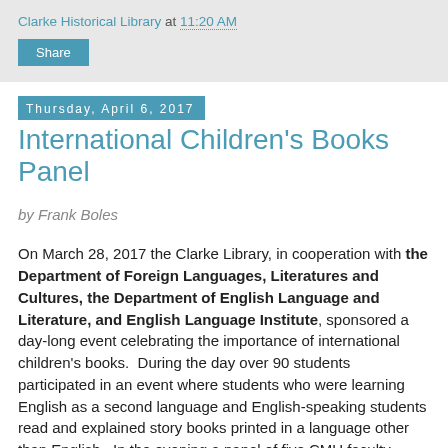Clarke Historical Library at 11:20 AM
International Children's Books Panel
Thursday, April 6, 2017
by Frank Boles
On March 28, 2017 the Clarke Library, in cooperation with the Department of Foreign Languages, Literatures and Cultures, the Department of English Language and Literature, and English Language Institute, sponsored a day-long event celebrating the importance of international children's books.  During the day over 90 students participated in an event where students who were learning English as a second language and English-speaking students read and explained story books printed in a language other than English.  In the evening a panel of five CMU faculty